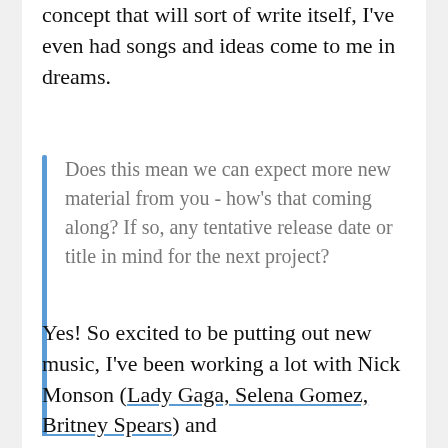concept that will sort of write itself, I've even had songs and ideas come to me in dreams.
Does this mean we can expect more new material from you - how's that coming along? If so, any tentative release date or title in mind for the next project?
Yes! So excited to be putting out new music, I've been working a lot with Nick Monson (Lady Gaga, Selena Gomez, Britney Spears) and